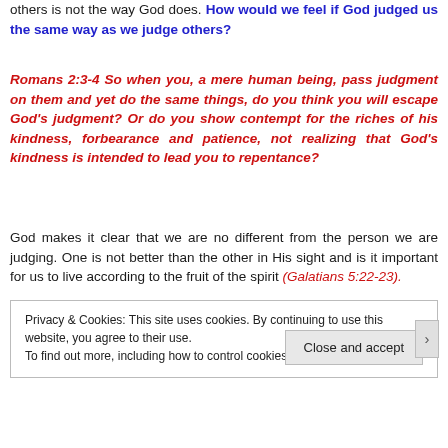others is not the way God does. How would we feel if God judged us the same way as we judge others?
Romans 2:3-4 So when you, a mere human being, pass judgment on them and yet do the same things, do you think you will escape God's judgment? Or do you show contempt for the riches of his kindness, forbearance and patience, not realizing that God's kindness is intended to lead you to repentance?
God makes it clear that we are no different from the person we are judging. One is not better than the other in His sight and is it important for us to live according to the fruit of the spirit (Galatians 5:22-23).
Privacy & Cookies: This site uses cookies. By continuing to use this website, you agree to their use. To find out more, including how to control cookies, see here: Cookie Policy